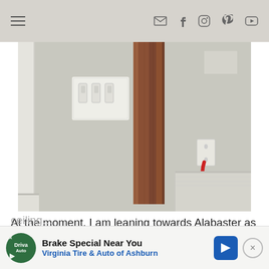Navigation header with hamburger menu and social icons (email, Facebook, Instagram, Pinterest, YouTube)
[Figure (photo): Interior room photo showing a beige/gray wall with a multi-switch light switch plate, a dark brown wood plank leaning against the wall, an electrical outlet on the right side with a red wire, and construction trim in the lower right corner]
At the moment, I am leaning towards Alabaster as it seems to be a happy medium between the two. It has been tried and tested in my own house and I think it was the perfect choice to use there—I just hope that also translates in this house once the dark wood
ceiling… have …